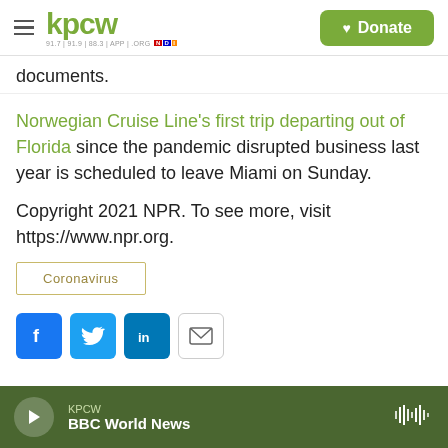KPCW — Donate
documents.
Norwegian Cruise Line's first trip departing out of Florida since the pandemic disrupted business last year is scheduled to leave Miami on Sunday.
Copyright 2021 NPR. To see more, visit https://www.npr.org.
Coronavirus
KPCW BBC World News